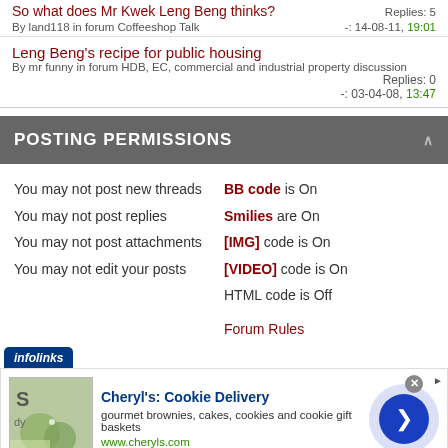So what does Mr Kwek Leng Beng thinks? By land118 in forum Coffeeshop Talk — Replies: 5 -: 14-08-11, 19:01
Leng Beng's recipe for public housing By mr funny in forum HDB, EC, commercial and industrial property discussion Replies: 0 -: 03-04-08, 13:47
POSTING PERMISSIONS
You may not post new threads
You may not post replies
You may not post attachments
You may not edit your posts
BB code is On
Smilies are On
[IMG] code is On
[VIDEO] code is On
HTML code is Off
Forum Rules
[Figure (screenshot): Advertisement banner: infolinks label, Cheryl's Cookie Delivery ad with image, title, description, URL, and navigation arrow circle]